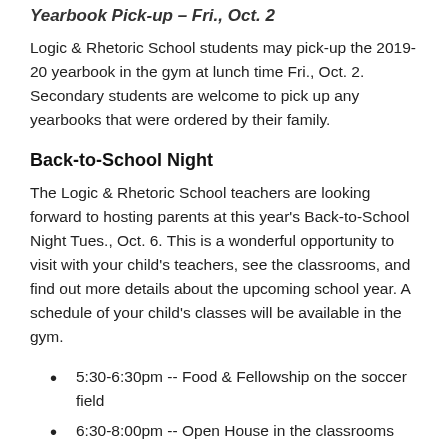Yearbook Pick-up – Fri., Oct. 2
Logic & Rhetoric School students may pick-up the 2019-20 yearbook in the gym at lunch time Fri., Oct. 2. Secondary students are welcome to pick up any yearbooks that were ordered by their family.
Back-to-School Night
The Logic & Rhetoric School teachers are looking forward to hosting parents at this year's Back-to-School Night Tues., Oct. 6. This is a wonderful opportunity to visit with your child's teachers, see the classrooms, and find out more details about the upcoming school year. A schedule of your child's classes will be available in the gym.
5:30-6:30pm -- Food & Fellowship on the soccer field
6:30-8:00pm -- Open House in the classrooms
7:10-8:00pm -- Conference & volunteer sign-ups available in the gym